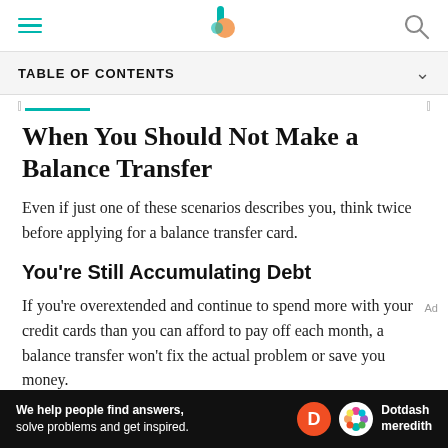Investopedia header with hamburger menu, logo, and search icon
TABLE OF CONTENTS
When You Should Not Make a Balance Transfer
Even if just one of these scenarios describes you, think twice before applying for a balance transfer card.
You're Still Accumulating Debt
If you're overextended and continue to spend more with your credit cards than you can afford to pay off each month, a balance transfer won't fix the actual problem or save you money.
[Figure (logo): Dotdash Meredith advertisement banner at the bottom of the page with text: We help people find answers, solve problems and get inspired.]